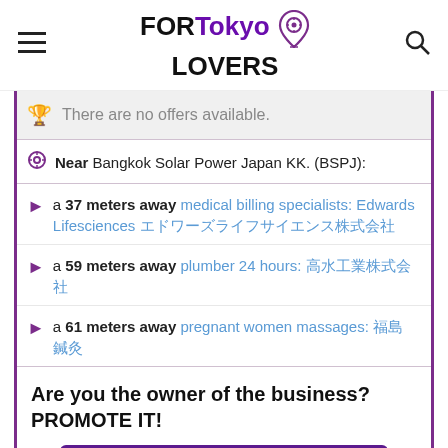FORTokyo LOVERS
There are no offers available.
Near Bangkok Solar Power Japan KK. (BSPJ):
a 37 meters away medical billing specialists: Edwards Lifesciences エドワーズライフサイエンス株式会社
a 59 meters away plumber 24 hours: 高水工業株式会社
a 61 meters away pregnant women massages: 福島鍼灸
Are you the owner of the business? PROMOTE IT!
BE THE 1ST IN THE RANKING
EXCLUSIVE PAGE